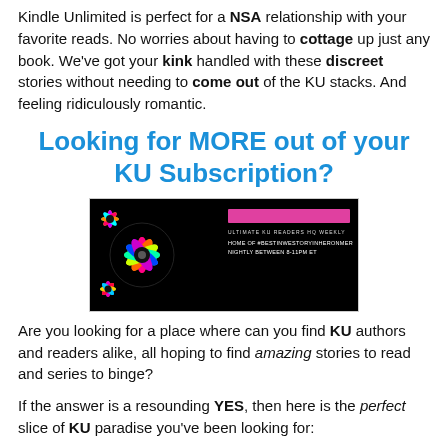Kindle Unlimited is perfect for a NSA relationship with your favorite reads. No worries about having to cottage up just any book. We've got your kink handled with these discreet stories without needing to come out of the KU stacks. And feeling ridiculously romantic.
Looking for MORE out of your KU Subscription?
[Figure (photo): Dark banner image with colorful firework/mandala designs on the left and pink bar with white text on the right against a black background]
Are you looking for a place where can you find KU authors and readers alike, all hoping to find amazing stories to read and series to binge?
If the answer is a resounding YES, then here is the perfect slice of KU paradise you've been looking for: